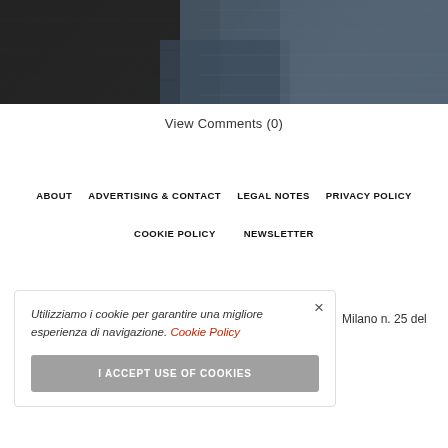[Figure (photo): Close-up photo of dark fabric/textile material, partially showing a blue-grey textured fabric in the background]
View Comments (0)
ABOUT   ADVERTISING & CONTACT   LEGAL NOTES   PRIVACY POLICY
COOKIE POLICY   NEWSLETTER
Utilizziamo i cookie per garantire una migliore esperienza di navigazione. Cookie Policy
I ACCEPT USE OF COOKIES
Milano n. 25 del